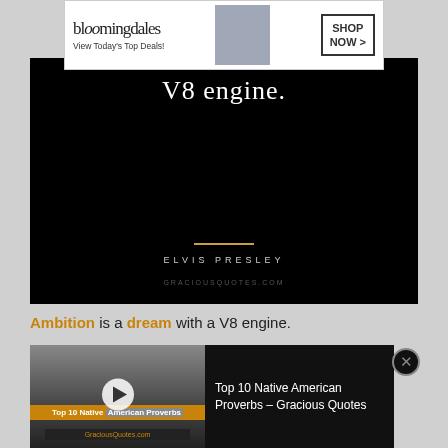[Figure (screenshot): Bloomingdale's advertisement banner: logo text 'bloomingdales', tagline 'View Today's Top Deals!', model photo, and 'SHOP NOW >' button]
[Figure (photo): Black background quote image showing 'V8 engine.' in white serif text, a gold horizontal divider, 'ELVIS PRESLEY' in spaced white caps, and 'GRACIOUSQUOTES.COM' at the bottom]
Ambition is a dream with a V8 engine.
[Figure (screenshot): Video thumbnail for 'Top 10 Native American Proverbs - Gracious Quotes' showing a desert scene with teepee in black and white, orange title bar, play button overlay]
Top 10 Native American Proverbs – Gracious Quotes